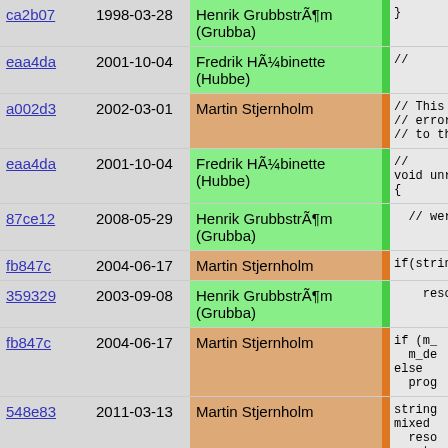| Hash | Date | Author | Bar | Code |
| --- | --- | --- | --- | --- |
| ca2b07 | 1998-03-28 | Henrik GrubbstrÃ¶m (Grubba) | green | } |
| eaa4da | 2001-10-04 | Fredrik HÃ¼binette (Hubbe) | green | // |
| a002d3 | 2002-03-01 | Martin Stjernholm | orange | // This fu
// error o
// to the |
| eaa4da | 2001-10-04 | Fredrik HÃ¼binette (Hubbe) | green | //
void unreg
{ |
| 87ce12 | 2008-05-29 | Henrik GrubbstrÃ¶m (Grubba) | green | // werro |
| fb847c | 2004-06-17 | Martin Stjernholm | orange | if(strin |
| 359329 | 2003-09-08 | Henrik GrubbstrÃ¶m (Grubba) | green | resolv |
| fb847c | 2004-06-17 | Martin Stjernholm | orange | if (m_
  m_de
else
  prog |
| 548e83 | 2011-03-13 | Martin Stjernholm | orange | string
mixed
  reso
  get_
if (ob
  n->d |